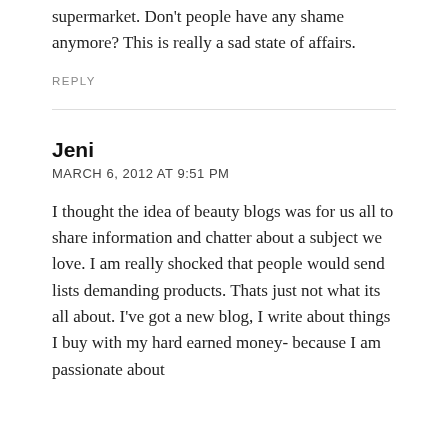supermarket. Don't people have any shame anymore? This is really a sad state of affairs.
REPLY
Jeni
MARCH 6, 2012 AT 9:51 PM
I thought the idea of beauty blogs was for us all to share information and chatter about a subject we love. I am really shocked that people would send lists demanding products. Thats just not what its all about. I've got a new blog, I write about things I buy with my hard earned money- because I am passionate about